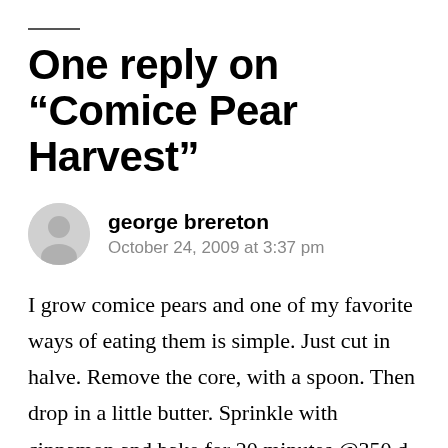One reply on “Comice Pear Harvest”
george brereton
October 24, 2009 at 3:37 pm
I grow comice pears and one of my favorite ways of eating them is simple. Just cut in halve. Remove the core, with a spoon. Then drop in a little butter. Sprinkle with cinnamon and bake for 20 minutes @350 d...